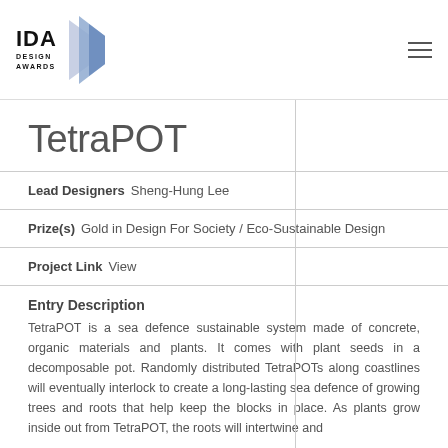[Figure (logo): IDA Design Awards logo with text IDA DESIGN AWARDS and a blue angular shape]
TetraPOT
Lead Designers  Sheng-Hung Lee
Prize(s)  Gold in Design For Society / Eco-Sustainable Design
Project Link  View
Entry Description
TetraPOT is a sea defence sustainable system made of concrete, organic materials and plants. It comes with plant seeds in a decomposable pot. Randomly distributed TetraPOTs along coastlines will eventually interlock to create a long-lasting sea defence of growing trees and roots that help keep the blocks in place. As plants grow inside out from TetraPOT, the roots will intertwine and